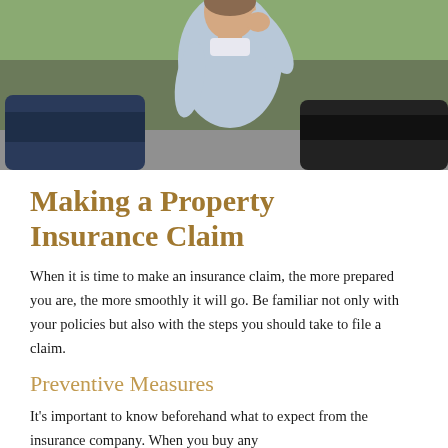[Figure (photo): A man in a light blue sweater standing near a car, talking on a phone — appears to be at the scene of an auto accident or insurance incident.]
Making a Property Insurance Claim
When it is time to make an insurance claim, the more prepared you are, the more smoothly it will go. Be familiar not only with your policies but also with the steps you should take to file a claim.
Preventive Measures
It's important to know beforehand what to expect from the insurance company. When you buy any